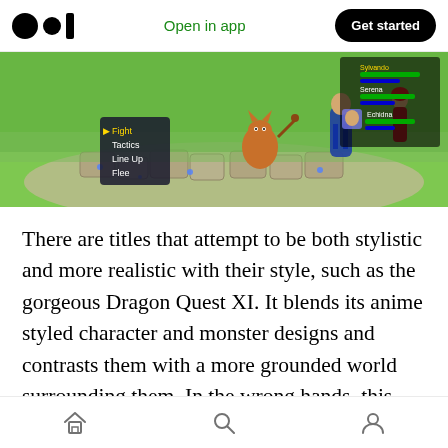Open in app  Get started
[Figure (screenshot): Dragon Quest XI game screenshot showing a battle scene with characters on a stone path in a grassy field, with a battle menu visible on the left and character status bars on the right]
There are titles that attempt to be both stylistic and more realistic with their style, such as the gorgeous Dragon Quest XI. It blends its anime styled character and monster designs and contrasts them with a more grounded world surrounding them. In the wrong hands, this could be jarring to experience, but with a competent studio at the helm, this title manages
Home  Search  Profile